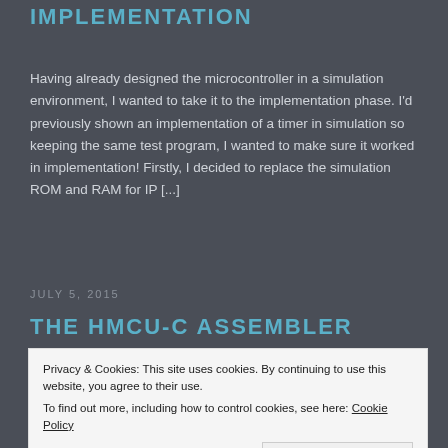IMPLEMENTATION
Having already designed the microcontroller in a simulation environment, I wanted to take it to the implementation phase. I'd previously shown an implementation of a timer in simulation so keeping the same test program, I wanted to make sure it worked in implementation! Firstly, I decided to replace the simulation ROM and RAM for IP [...]
JULY 5, 2015
THE HMCU-C ASSEMBLER
Privacy & Cookies: This site uses cookies. By continuing to use this website, you agree to their use.
To find out more, including how to control cookies, see here: Cookie Policy
Close and accept